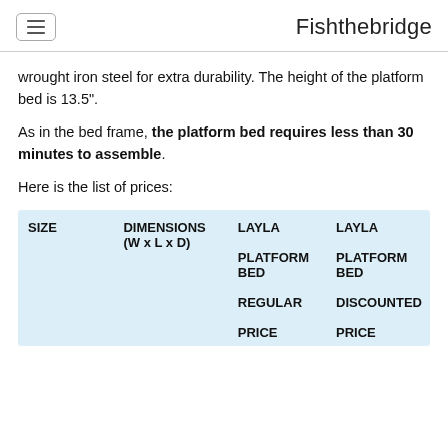Fishthebridge
wrought iron steel for extra durability. The height of the platform bed is 13.5".
As in the bed frame, the platform bed requires less than 30 minutes to assemble.
Here is the list of prices:
| SIZE | DIMENSIONS (W x L x D) | LAYLA PLATFORM BED REGULAR PRICE | LAYLA PLATFORM BED DISCOUNTED PRICE |
| --- | --- | --- | --- |